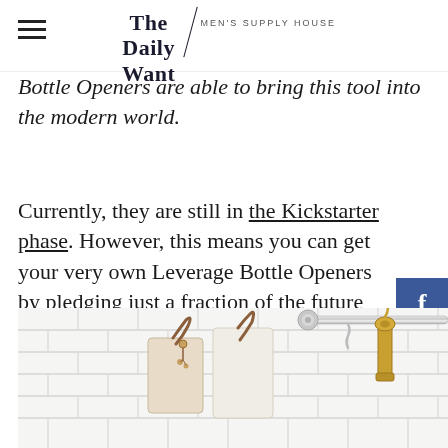The Daily Want — MEN'S SUPPLY HOUSE
Bottle Openers are able to bring this tool into the modern world.
Currently, they are still in the Kickstarter phase. However, this means you can get your very own Leverage Bottle Openers by pledging just a fraction of the future retail price. Let's take a look at the last bottle opener you'll ever have to purchase:
[Figure (photo): Kitchen scene with white subway tile backsplash, chrome hanging rail, and hanging kitchen items including cutting boards with leather straps and brass bottle opener.]